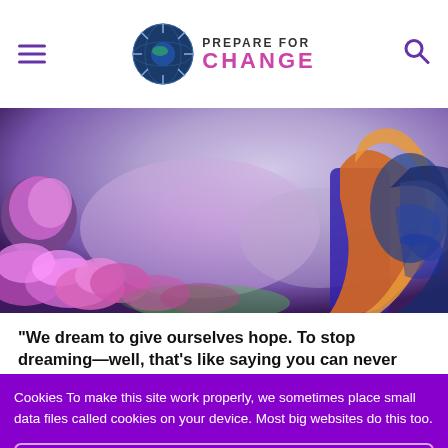Prepare for Change
[Figure (illustration): Fantasy digital art scene with a figure with long colorful hair, purple/pink flowering trees and bushes in a dreamy landscape]
“We dream to give ourselves hope. To stop dreaming—well, that’s like saying you can never change your fate.” – Amy Tan
Cookies To make this site work properly, we sometimes place small data files called cookies on your device. Most big websites do this too.
✔ Accept
Change Settings ⚙